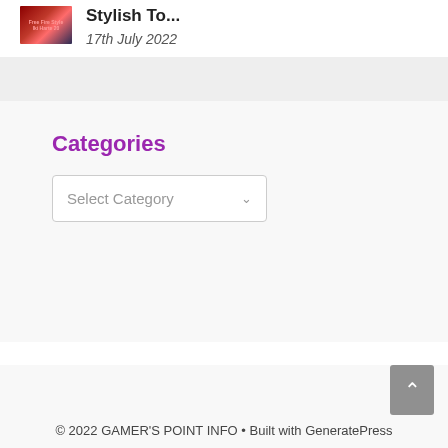Stylish To...
17th July 2022
Categories
Select Category
© 2022 GAMER'S POINT INFO • Built with GeneratePress